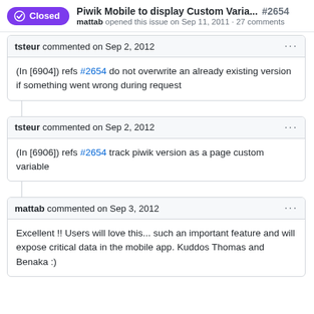Piwik Mobile to display Custom Varia... #2654 mattab opened this issue on Sep 11, 2011 · 27 comments
tsteur commented on Sep 2, 2012
(In [6904]) refs #2654 do not overwrite an already existing version if something went wrong during request
tsteur commented on Sep 2, 2012
(In [6906]) refs #2654 track piwik version as a page custom variable
mattab commented on Sep 3, 2012
Excellent !! Users will love this... such an important feature and will expose critical data in the mobile app. Kuddos Thomas and Benaka :)